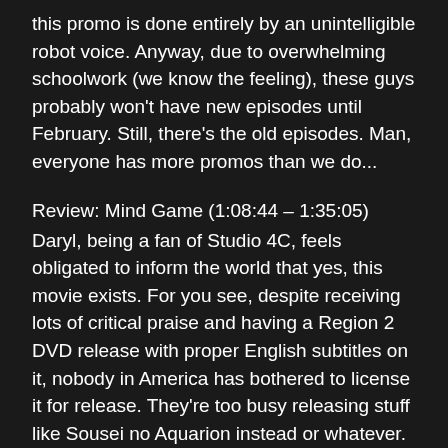this promo is done entirely by an unintelligible robot voice. Anyway, due to overwhelming schoolwork (we know the feeling), these guys probably won't have new episodes until February. Still, there's the old episodes. Man, everyone has more promos than we do...
Review: Mind Game (1:08:44 – 1:35:05)
Daryl, being a fan of Studio 4C, feels obligated to inform the world that yes, this movie exists. For you see, despite receiving lots of critical praise and having a Region 2 DVD release with proper English subtitles on it, nobody in America has bothered to license it for release. They're too busy releasing stuff like Sousei no Aquarion instead or whatever. It wasn't until starting this podcast that Daryl realized how good a year 2004 was for anime, and Mind Game is certainly one to be added to the list. Download links for Mind Game are actually not that hard to come by, so it's probably not necessary to link one